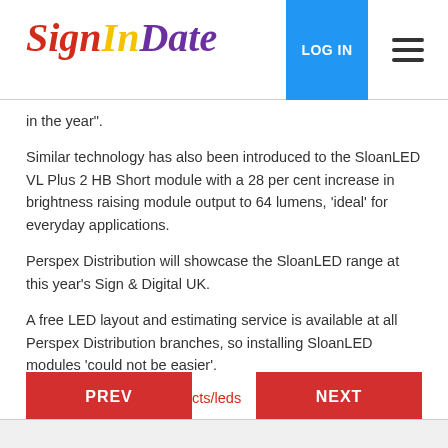SignInDate | LOG IN
in the year".
Similar technology has also been introduced to the SloanLED VL Plus 2 HB Short module with a 28 per cent increase in brightness raising module output to 64 lumens, 'ideal' for everyday applications.
Perspex Distribution will showcase the SloanLED range at this year's Sign & Digital UK.
A free LED layout and estimating service is available at all Perspex Distribution branches, so installing SloanLED modules 'could not be easier'.
www.perspex.co.uk/products/leds